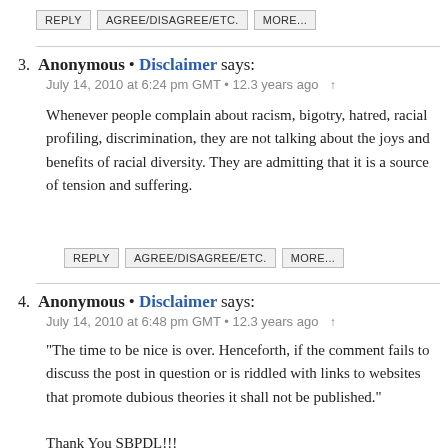REPLY | AGREE/DISAGREE/ETC. | MORE...
3. Anonymous • Disclaimer says:
July 14, 2010 at 6:24 pm GMT • 12.3 years ago ↑

Whenever people complain about racism, bigotry, hatred, racial profiling, discrimination, they are not talking about the joys and benefits of racial diversity. They are admitting that it is a source of tension and suffering.
REPLY | AGREE/DISAGREE/ETC. | MORE...
4. Anonymous • Disclaimer says:
July 14, 2010 at 6:48 pm GMT • 12.3 years ago ↑

"The time to be nice is over. Henceforth, if the comment fails to discuss the post in question or is riddled with links to websites that promote dubious theories it shall not be published."

Thank You SBPDL!!!